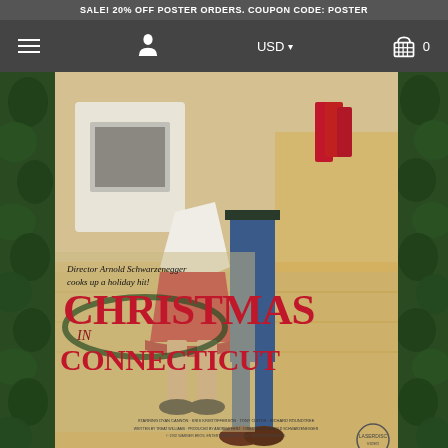SALE! 20% OFF POSTER ORDERS. COUPON CODE: POSTER
[Figure (screenshot): E-commerce website navigation bar with hamburger menu icon, user account icon, USD currency selector with dropdown arrow, and shopping cart icon with 0 items count, on dark gray background]
[Figure (photo): Movie poster for 'Christmas in Connecticut' directed by Arnold Schwarzenegger. Shows two people standing in a kitchen - a woman in a white apron over a red skirt and a man in jeans. Text reads: 'Director Arnold Schwarzenegger cooks up a holiday hit! CHRISTMAS in CONNECTICUT'. Poster is framed by green ivy/holly borders on left and right sides. Small credits text at bottom.]